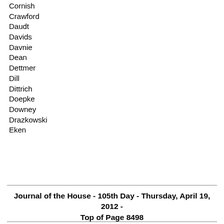Cornish
Crawford
Daudt
Davids
Davnie
Dean
Dettmer
Dill
Dittrich
Doepke
Downey
Drazkowski
Eken
Journal of the House - 105th Day - Thursday, April 19, 2012 - Top of Page 8498
Erickson
Fabian
Falk
Franson
Fritz
Garofalo
Gauthier
Gottwalt
Greiling
Gruenhagen
Gunther
Hackbarth
Hamilton
Hancock
Hansen
Hausman
Hilstrom
Hilty
Holberg